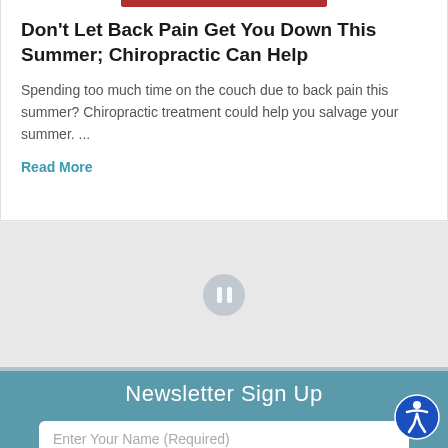[Figure (photo): Partial image strip at top of article card, showing a red garment]
Don't Let Back Pain Get You Down This Summer; Chiropractic Can Help
Spending too much time on the couch due to back pain this summer? Chiropractic treatment could help you salvage your summer. ...
Read More
[Figure (other): Pause button icon in grey section]
Newsletter Sign Up
Enter Your Name (Required)